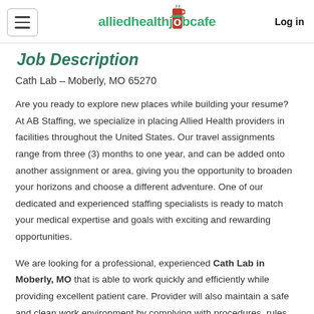alliedhealthjobcafe — Log in
Job Description
Cath Lab – Moberly, MO 65270
Are you ready to explore new places while building your resume? At AB Staffing, we specialize in placing Allied Health providers in facilities throughout the United States. Our travel assignments range from three (3) months to one year, and can be added onto another assignment or area, giving you the opportunity to broaden your horizons and choose a different adventure. One of our dedicated and experienced staffing specialists is ready to match your medical expertise and goals with exciting and rewarding opportunities.
We are looking for a professional, experienced Cath Lab in Moberly, MO that is able to work quickly and efficiently while providing excellent patient care. Provider will also maintain a safe and clean work environment by complying with procedures, rules